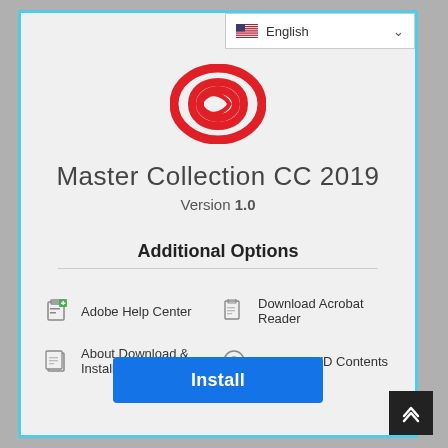[Figure (logo): Adobe Creative Cloud logo — red double-circle/ribbon mark]
Master Collection CC 2019
Version 1.0
Additional Options
Adobe Help Center
Download Acrobat Reader
About Download & Install
Browse DVD Contents